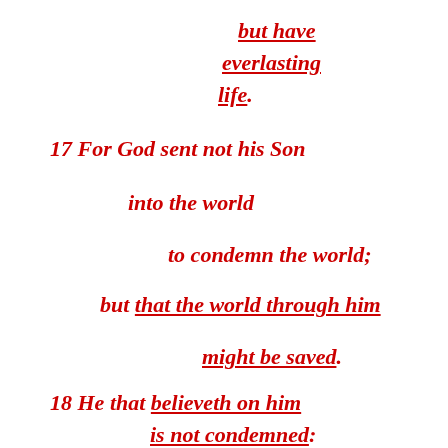but have everlasting life.
17 For God sent not his Son
into the world
to condemn the world;
but that the world through him
might be saved.
18 He that believeth on him
is not condemned: